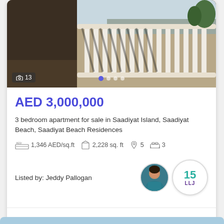[Figure (photo): Interior photo of a luxury apartment balcony with white ornate railings and a view of a road and palm trees outside]
AED 3,000,000
3 bedroom apartment for sale in Saadiyat Island, Saadiyat Beach, Saadiyat Beach Residences
1,346 AED/sq.ft  2,228 sq. ft  5  3
Listed by: Jeddy Pallogan